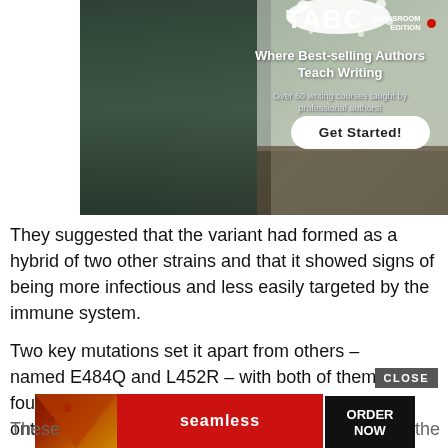[Figure (screenshot): TABC Classroom Edition advertisement banner featuring two children in blue t-shirts, with text 'Where Best-selling Authors Teach Writing' and 'Over 60 writing courses taught by professional authors!' and a 'Get Started!' button.]
They suggested that the variant had formed as a hybrid of two other strains and that it showed signs of being more infectious and less easily targeted by the immune system.
Two key mutations set it apart from others – named E484Q and L452R – with both of them found on the 'spike' that the virus uses to latch onto human cells.
[Figure (screenshot): Seamless food delivery advertisement banner showing pizza image, Seamless logo in red, and 'ORDER NOW' button, with a CLOSE button overlay.]
These … the